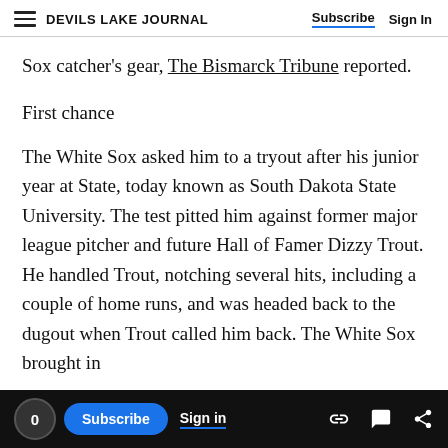DEVILS LAKE JOURNAL  Subscribe  Sign In
Sox catcher's gear, The Bismarck Tribune reported.
First chance
The White Sox asked him to a tryout after his junior year at State, today known as South Dakota State University. The test pitted him against former major league pitcher and future Hall of Famer Dizzy Trout. He handled Trout, notching several hits, including a couple of home runs, and was headed back to the dugout when Trout called him back. The White Sox brought in
0  Subscribe  Sign in